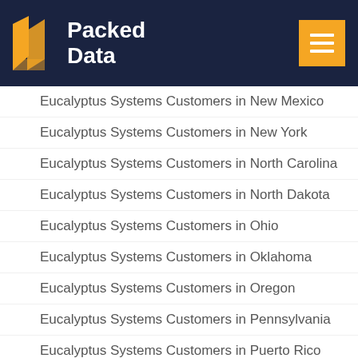Packed Data
Eucalyptus Systems Customers in New Mexico
Eucalyptus Systems Customers in New York
Eucalyptus Systems Customers in North Carolina
Eucalyptus Systems Customers in North Dakota
Eucalyptus Systems Customers in Ohio
Eucalyptus Systems Customers in Oklahoma
Eucalyptus Systems Customers in Oregon
Eucalyptus Systems Customers in Pennsylvania
Eucalyptus Systems Customers in Puerto Rico
Eucalyptus Systems Customers in Rhode Island
Eucalyptus Systems Customers in South Carolina
Eucalyptus Systems Customers in South Dakota
Eucalyptus Systems Customers in Tennessee
Eucalyptus Systems Customers in Texas